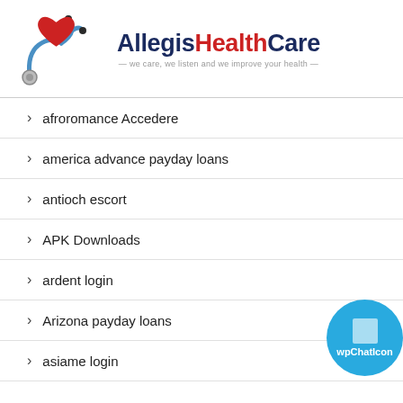[Figure (logo): Allegis HealthCare logo with stethoscope and red heart graphic. Text reads 'AllegisHealthCare — we care, we listen and we improve your health —']
afroromance Accedere
america advance payday loans
antioch escort
APK Downloads
ardent login
Arizona payday loans
asiame login
[Figure (illustration): Blue circular chat button with wpChatIcon label]